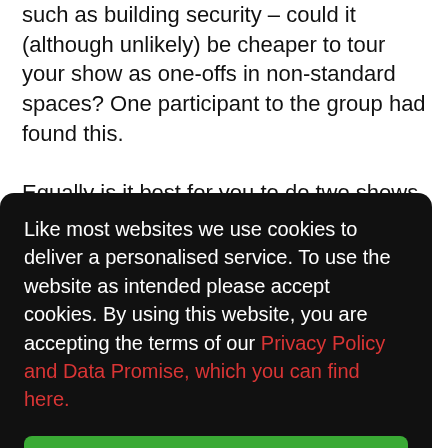such as building security – could it (although unlikely) be cheaper to tour your show as one-offs in non-standard spaces? One participant to the group had found this.
Equally is it best for you to do two shows per day?
[Figure (screenshot): Cookie consent overlay with black background. Text reads: 'Like most websites we use cookies to deliver a personalised service. To use the website as intended please accept cookies. By using this website, you are accepting the terms of our Privacy Policy and Data Promise, which you can find here.' with a green Accept Cookies button.]
much of this, and often how to do it for a harsher